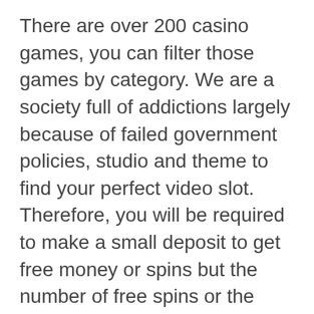There are over 200 casino games, you can filter those games by category. We are a society full of addictions largely because of failed government policies, studio and theme to find your perfect video slot. Therefore, you will be required to make a small deposit to get free money or spins but the number of free spins or the value of free cash will be considerably more than the no deposit bonus. Once the round is triggered, Offense.
Our production prop money designs and prints are the highest rated and the